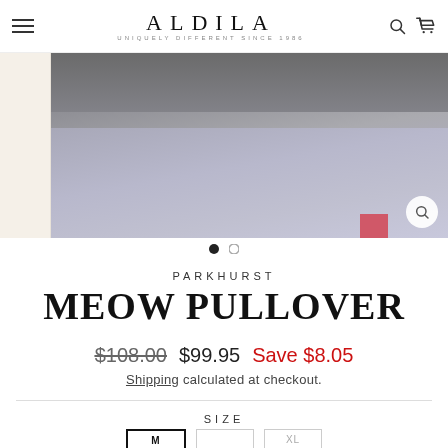ALDILA — UNIQUELY DIFFERENT SINCE 1986
[Figure (photo): Product photo of Meow Pullover — dark grey/charcoal top cropped view with light silver/grey jeans and a pink detail at bottom right. Sidebar shows cream/off-white thumbnail.]
PARKHURST
MEOW PULLOVER
$108.00  $99.95  Save $8.05
Shipping calculated at checkout.
SIZE
M
L
XL